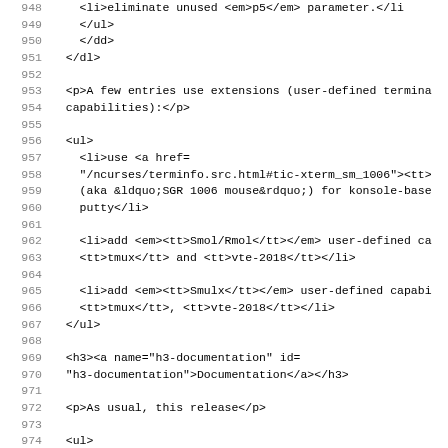948    <li>eliminate unused <em>p5</em> parameter.</li>
949    </ul>
950    </dd>
951    </dl>
952
953    <p>A few entries use extensions (user-defined termina
954    capabilities):</p>
955
956    <ul>
957      <li>use <a href=
958      "/ncurses/terminfo.src.html#tic-xterm_sm_1006"><tt>
959      (aka &ldquo;SGR 1006 mouse&rdquo;) for konsole-base
960      putty</li>
961
962      <li>add <em><tt>Smol/Rmol</tt></em> user-defined ca
963      <tt>tmux</tt> and <tt>vte-2018</tt></li>
964
965      <li>add <em><tt>Smulx</tt></em> user-defined capabi
966      <tt>tmux</tt>, <tt>vte-2018</tt></li>
967    </ul>
968
969    <h3><a name="h3-documentation" id=
970    "h3-documentation">Documentation</a></h3>
971
972    <p>As usual, this release</p>
973
974    <ul>
975      <li>
976        <p>improves documentation by describing new featu
977      </li>
978
979      <li>